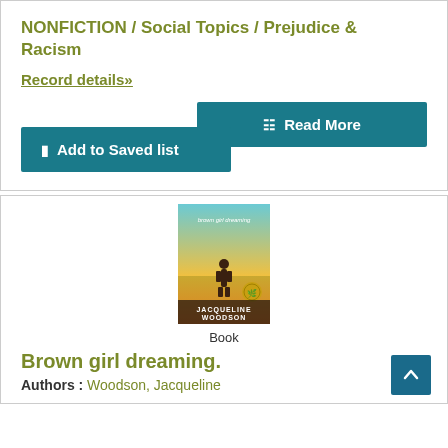NONFICTION / Social Topics / Prejudice & Racism
Record details»
Read More
Add to Saved list
[Figure (photo): Book cover of 'Brown girl dreaming' by Jacqueline Woodson, showing a silhouette of a child in a field with a teal sky and a medal emblem]
Book
Brown girl dreaming.
Authors : Woodson, Jacqueline